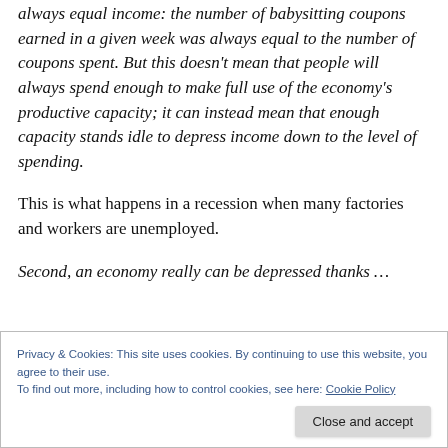always equal income: the number of babysitting coupons earned in a given week was always equal to the number of coupons spent. But this doesn't mean that people will always spend enough to make full use of the economy's productive capacity; it can instead mean that enough capacity stands idle to depress income down to the level of spending.
This is what happens in a recession when many factories and workers are unemployed.
Second, an economy really can be depressed thanks …
Privacy & Cookies: This site uses cookies. By continuing to use this website, you agree to their use.
To find out more, including how to control cookies, see here: Cookie Policy